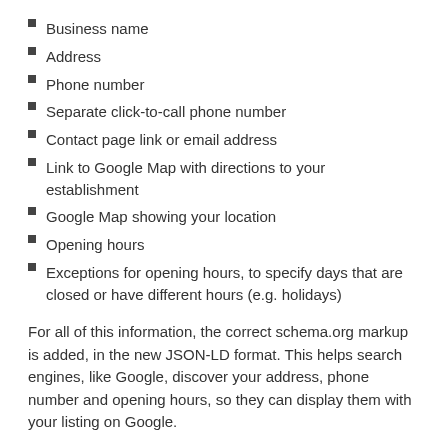Business name
Address
Phone number
Separate click-to-call phone number
Contact page link or email address
Link to Google Map with directions to your establishment
Google Map showing your location
Opening hours
Exceptions for opening hours, to specify days that are closed or have different hours (e.g. holidays)
For all of this information, the correct schema.org markup is added, in the new JSON-LD format. This helps search engines, like Google, discover your address, phone number and opening hours, so they can display them with your listing on Google.